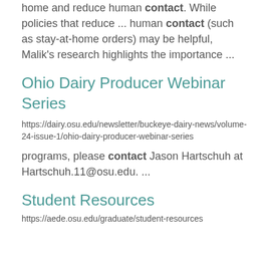home and reduce human contact. While policies that reduce ... human contact (such as stay-at-home orders) may be helpful, Malik's research highlights the importance ...
Ohio Dairy Producer Webinar Series
https://dairy.osu.edu/newsletter/buckeye-dairy-news/volume-24-issue-1/ohio-dairy-producer-webinar-series
programs, please contact Jason Hartschuh at Hartschuh.11@osu.edu. ...
Student Resources
https://aede.osu.edu/graduate/student-resources